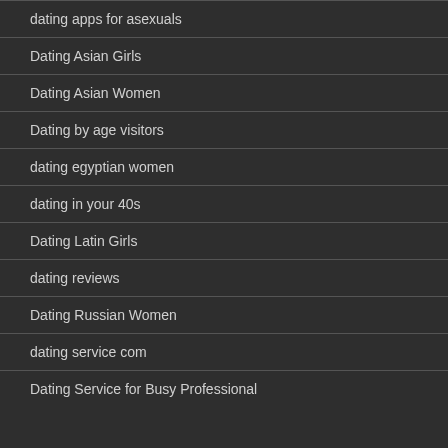dating apps for asexuals
Dating Asian Girls
Dating Asian Women
Dating by age visitors
dating egyptian women
dating in your 40s
Dating Latin Girls
dating reviews
Dating Russian Women
dating service com
Dating Service for Busy Professional